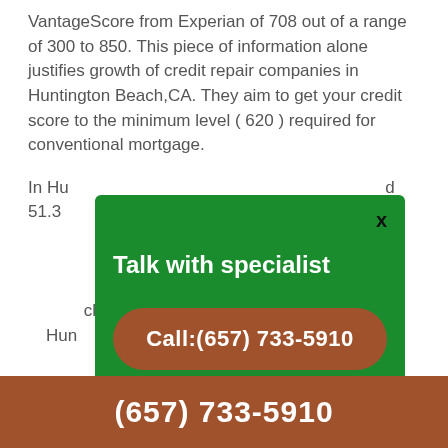VantageScore from Experian of 708 out of a range of 300 to 850. This piece of information alone justifies growth of credit repair companies in Huntington Beach,CA. They aim to get your credit score to the minimum level ( 620 ) required for conventional mortgage.
In Huntington Beach metro area we have around 51.3... credit... has... quickly... out credit... choose... Huntington... 733-5910...
[Figure (other): Green modal popup with 'Talk with specialist' heading and a brown rounded button showing 'Call:(657) 733-5910', with an X close button in the top right]
(657) 733-5910